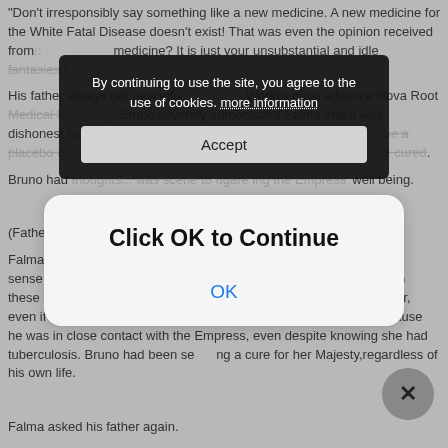"Don't irresponsibly say something like a new medicine. A new medicine for the White Fatal Disease doesn't exist! That was even the opinion received from... medicine? It is just your unsubstantial and idle fantasies."
His father always got new info... World's most advance Nova Root Medical University. Bruno severely admonished Falma that it was dishonest to tell a lie to a patient. It was a serious crime to prescribe a placebo drug, and that he should confess that her majesty can't be cured.
Bruno had thoughts... encouraging the Empress' well being.

(Father… you truly are a great apothecary.)
Falma honestly re-evaluated his father, and he now bore a new deep sense of respect for his father. The reason his father had a dry cough these days was because he was infected by tuberculosis. It was clear, even if Falma didn't use his Diagnosis Eye. Bruno was infected because he was in close contact with the Empress, even despite knowing she had tuberculosis. Bruno had been seeking a cure for her Majesty,regardless of his own life.

Falma asked his father again.
[Figure (screenshot): Dark cookie consent popup overlay with text 'By continuing to use the site, you agree to the use of cookies. more information' and an Accept button.]
[Figure (screenshot): White rounded dialog box with bold title 'Click OK to Continue' and a blue 'OK' button.]